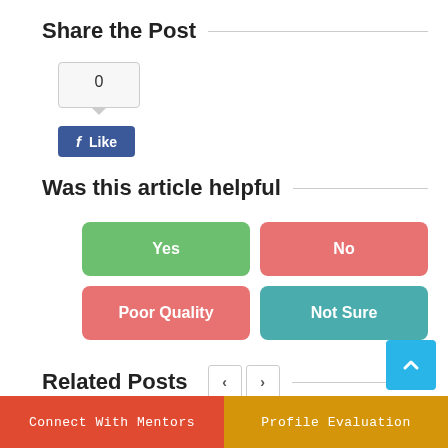Share the Post
[Figure (other): Facebook like button widget showing count of 0 and a blue Like button with Facebook f icon]
Was this article helpful
[Figure (other): Four voting buttons in a 2x2 grid: Yes (green), No (red), Poor Quality (red), Not Sure (teal)]
Related Posts
Connect With Mentors | Profile Evaluation